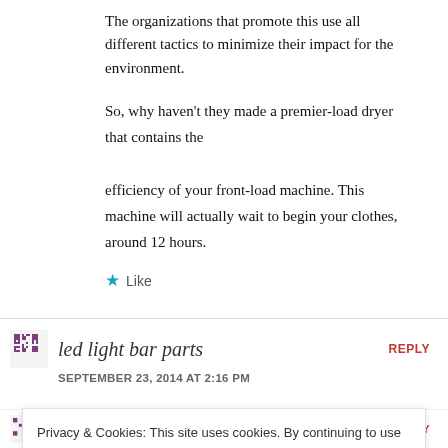The organizations that promote this use all different tactics to minimize their impact for the environment.
So, why haven't they made a premier-load dryer that contains the efficiency of your front-load machine. This machine will actually wait to begin your clothes, around 12 hours.
★ Like
led light bar parts
REPLY
SEPTEMBER 23, 2014 AT 2:16 PM
Privacy & Cookies: This site uses cookies. By continuing to use this website, you agree to their use. To find out more, including how to control cookies, see here: Cookie Policy
Close and accept
plants vs zombies garden
REPLY